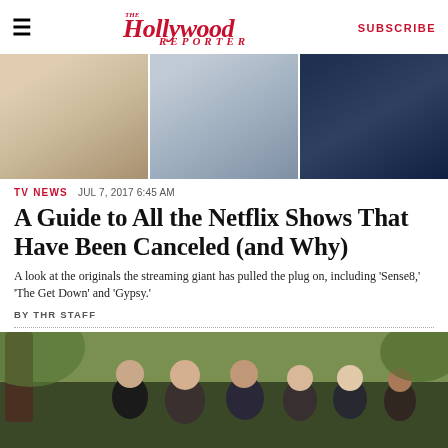The Hollywood Reporter | SUBSCRIBE
[Figure (photo): Three cropped photos side by side showing TV show characters — a woman in cream, a man in grey shirt, a man in dark blue knit sweater]
TV NEWS  JUL 7, 2017 6:45 AM
A Guide to All the Netflix Shows That Have Been Canceled (and Why)
A look at the originals the streaming giant has pulled the plug on, including 'Sense8,' 'The Get Down' and 'Gypsy.'
BY THR STAFF
[Figure (photo): Group of people standing outdoors near a tree — a Netflix show cast photo]